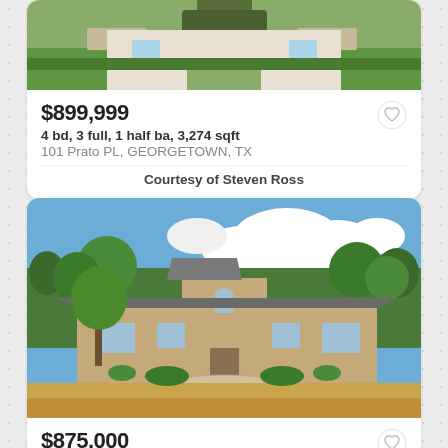[Figure (photo): Photo of a house with green lawn, stone planters, and trees at 101 Prato PL Georgetown TX (partially cropped at top)]
$899,999
4 bd, 3 full, 1 half ba, 3,274 sqft
101 Prato PL, GEORGETOWN, TX
Courtesy of Steven Ross
[Figure (photo): Photo of a large single-story stone house with a circular driveway, trees, and dry grass lawn under a blue sky with clouds]
$875,000
4 bd, 3 full ba, 3,044 sqft